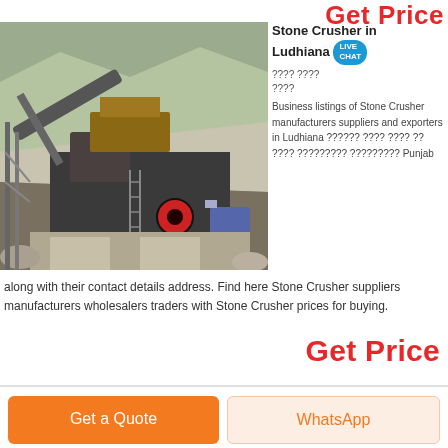Get Price
[Figure (photo): Stone crusher machine at quarry site with mountains and rocky terrain in background]
Stone Crusher in Ludhiana
Business listings of Stone Crusher manufacturers suppliers and exporters in Ludhiana along with their contact details address. Find here Stone Crusher suppliers manufacturers wholesalers traders with Stone Crusher prices for buying.
Get Price
Get a Quote
WhatsApp